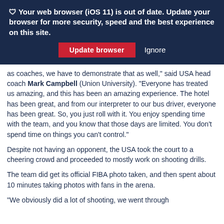🛡 Your web browser (iOS 11) is out of date. Update your browser for more security, speed and the best experience on this site. [Update browser] [Ignore]
as coaches, we have to demonstrate that as well," said USA head coach Mark Campbell (Union University). "Everyone has treated us amazing, and this has been an amazing experience. The hotel has been great, and from our interpreter to our bus driver, everyone has been great. So, you just roll with it. You enjoy spending time with the team, and you know that those days are limited. You don't spend time on things you can't control."
Despite not having an opponent, the USA took the court to a cheering crowd and proceeded to mostly work on shooting drills.
The team did get its official FIBA photo taken, and then spent about 10 minutes taking photos with fans in the arena.
"We obviously did a lot of shooting, we went through